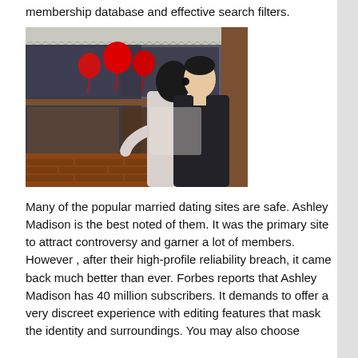membership database and effective search filters.
[Figure (photo): A couple kissing near a shop window with red heart-shaped balloons. The woman wears a light hoodie and the man wears a dark hoodie. Reflected in the window are more people and decorations.]
Many of the popular married dating sites are safe. Ashley Madison is the best noted of them. It was the primary site to attract controversy and garner a lot of members. However , after their high-profile reliability breach, it came back much better than ever. Forbes reports that Ashley Madison has 40 million subscribers. It demands to offer a very discreet experience with editing features that mask the identity and surroundings. You may also choose